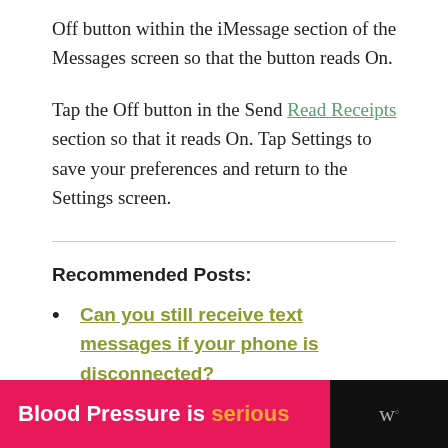Off button within the iMessage section of the Messages screen so that the button reads On.
Tap the Off button in the Send Read Receipts section so that it reads On. Tap Settings to save your preferences and return to the Settings screen.
Recommended Posts:
Can you still receive text messages if your phone is disconnected?
[Figure (infographic): Advertisement banner: pink background reading 'Blood Pressure is serious' with orange word 'serious', dark right panel with logo]